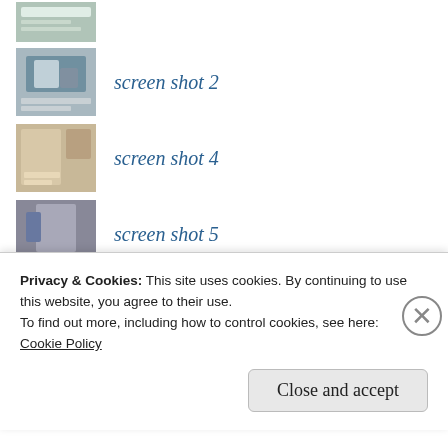[Figure (screenshot): Thumbnail image screenshot 1 (partial, top)]
screen shot 2
screen shot 4
screen shot 5
screen shot 6
False Prophets Shepherd Bushiri and
Privacy & Cookies: This site uses cookies. By continuing to use this website, you agree to their use.
To find out more, including how to control cookies, see here:
Cookie Policy

Close and accept